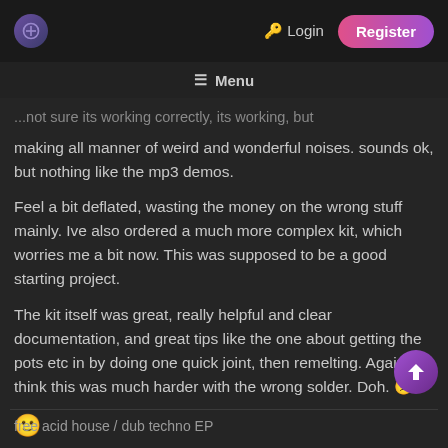Login | Register
≡ Menu
...not sure its working correctly, its working, but making all manner of weird and wonderful noises. sounds ok, but nothing like the mp3 demos.
Feel a bit deflated, wasting the money on the wrong stuff mainly. Ive also ordered a much more complex kit, which worries me a bit now. This was supposed to be a good starting project.
The kit itself was great, really helpful and clear documentation, and great tips like the one about getting the pots etc in by doing one quick joint, then remelting. Again, i think this was much harder with the wrong solder. Doh. 🙁
🙂
free acid house / dub techno EP